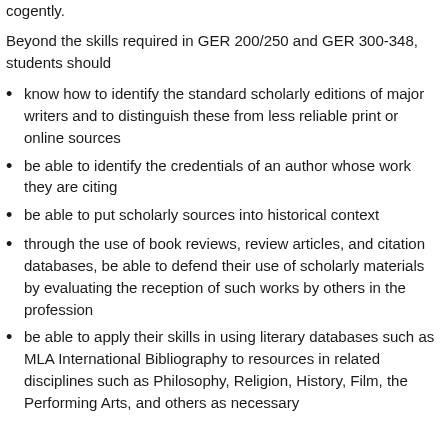cogently.
Beyond the skills required in GER 200/250 and GER 300-348, students should
know how to identify the standard scholarly editions of major writers and to distinguish these from less reliable print or online sources
be able to identify the credentials of an author whose work they are citing
be able to put scholarly sources into historical context
through the use of book reviews, review articles, and citation databases, be able to defend their use of scholarly materials by evaluating the reception of such works by others in the profession
be able to apply their skills in using literary databases such as MLA International Bibliography to resources in related disciplines such as Philosophy, Religion, History, Film, the Performing Arts, and others as necessary